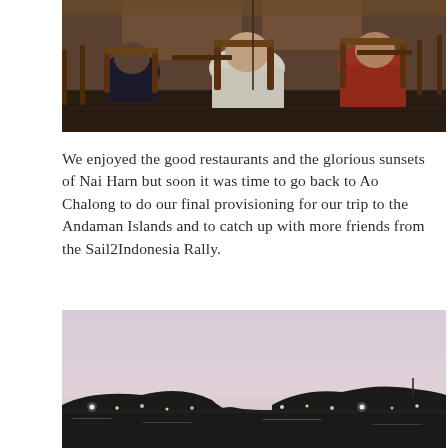[Figure (photo): People sitting at outdoor restaurant tables on a wooden deck, viewed from behind, with chairs and tables visible in dim warm lighting.]
We enjoyed the good restaurants and the glorious sunsets of Nai Harn but soon it was time to go back to Ao Chalong to do our final provisioning for our trip to the Andaman Islands and to catch up with more friends from the Sail2Indonesia Rally.
[Figure (photo): A panoramic sunset view over water with a silhouetted hilly coastline, lights along the shore, and a pale pink-purple sky.]